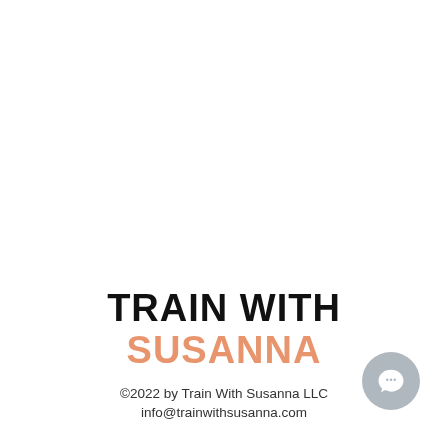TRAIN WITH SUSANNA
©2022 by Train With Susanna LLC
info@trainwithsusanna.com